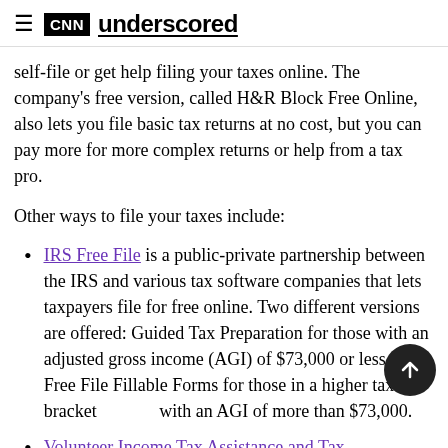CNN underscored
self-file or get help filing your taxes online. The company's free version, called H&R Block Free Online, also lets you file basic tax returns at no cost, but you can pay more for more complex returns or help from a tax pro.
Other ways to file your taxes include:
IRS Free File is a public-private partnership between the IRS and various tax software companies that lets taxpayers file for free online. Two different versions are offered: Guided Tax Preparation for those with an adjusted gross income (AGI) of $73,000 or less, and Free File Fillable Forms for those in a higher tax bracket with an AGI of more than $73,000.
Volunteer Income Tax Assistance and Tax